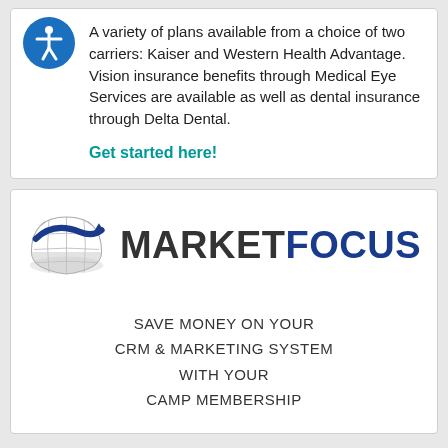A variety of plans available from a choice of two carriers: Kaiser and Western Health Advantage. Vision insurance benefits through Medical Eye Services are available as well as dental insurance through Delta Dental.
Get started here!
[Figure (logo): MarketFocus logo: a grey globe hemisphere with a blue swoosh arc, next to bold text MARKETFOCUS in dark and blue colors]
SAVE MONEY ON YOUR CRM & MARKETING SYSTEM WITH YOUR CAMP MEMBERSHIP